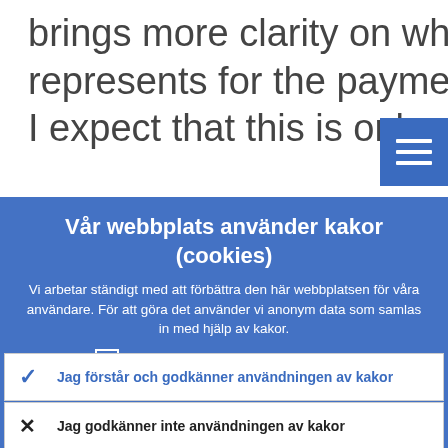brings more clarity on what SEPA represents for the payment cards in Euro I expect that this is only a first step of the
Vår webbplats använder kakor (cookies)
Vi arbetar ständigt med att förbättra den här webbplatsen för våra användare. För att göra det använder vi anonym data som samlas in med hjälp av kakor.
Läs mer om hur vi använder kakor
Jag förstår och godkänner användningen av kakor
Jag godkänner inte användningen av kakor